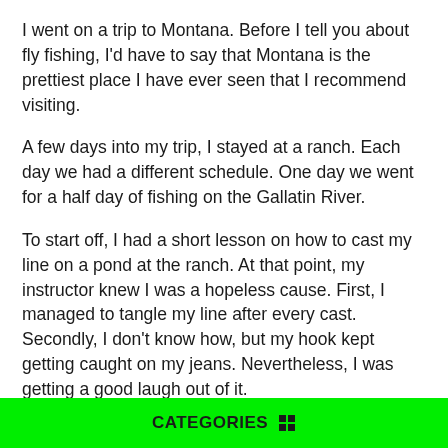I went on a trip to Montana. Before I tell you about fly fishing, I'd have to say that Montana is the prettiest place I have ever seen that I recommend visiting.
A few days into my trip, I stayed at a ranch. Each day we had a different schedule. One day we went for a half day of fishing on the Gallatin River.
To start off, I had a short lesson on how to cast my line on a pond at the ranch. At that point, my instructor knew I was a hopeless cause. First, I managed to tangle my line after every cast. Secondly, I don't know how, but my hook kept getting caught on my jeans. Nevertheless, I was getting a good laugh out of it.
After our lesson, it was time for my favorite part: getting dressed. I have never looked as ridiculous as that morning. I was suited up in a bright yellow pair of waders and yellow galoshe five sizes too big. Before I even fished I had already...
CATEGORIES